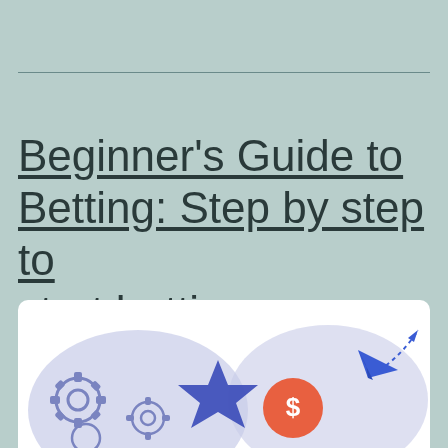Beginner's Guide to Betting: Step by step to start betting
[Figure (illustration): Flat-style illustration showing gear/cog icons, a blue star shape, a red/orange coin with dollar sign, and a blue paper airplane with a dotted arrow trajectory, set against light purple blob shapes on a white background.]